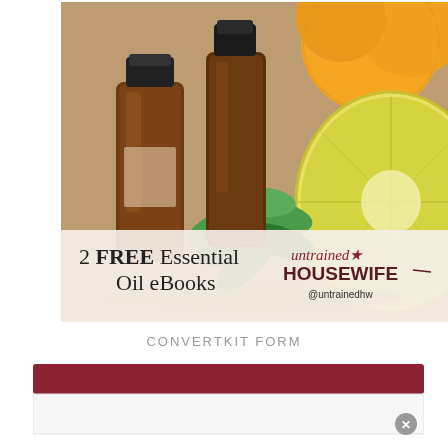[Figure (photo): Photo of two amber essential oil bottles with mint leaves and half a lemon on a wooden surface. Oranges visible in background. Bottom portion has a cream/tan overlay with text: '2 FREE Essential Oil eBooks' and 'untrained HOUSEWIFE @untrainedhw' logo.]
CONVERTKIT FORM
[Figure (screenshot): Partial view of a ConvertKit email signup form with a dark red/maroon header bar and a white input field below it. A grey close (X) button appears at the bottom right.]